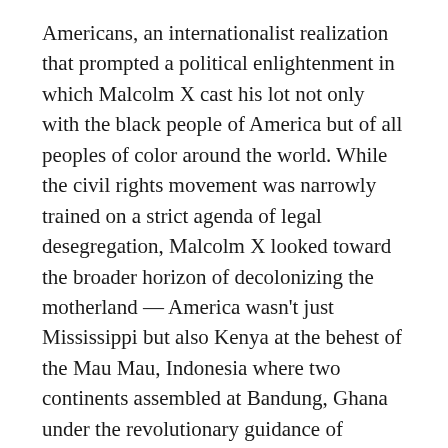Americans, an internationalist realization that prompted a political enlightenment in which Malcolm X cast his lot not only with the black people of America but of all peoples of color around the world. While the civil rights movement was narrowly trained on a strict agenda of legal desegregation, Malcolm X looked toward the broader horizon of decolonizing the motherland — America wasn't just Mississippi but also Kenya at the behest of the Mau Mau, Indonesia where two continents assembled at Bandung, Ghana under the revolutionary guidance of Kwame Nkrumah, and everywhere else freedom was not yet won by those who were under the colonial heel of white supremacy.
Had Malcolm X lived long enough to see the shooting death of Eyad Hallaq — an autistic Palestinian man — by the Israeli Defense Forces at the start of June, perhaps he would have revised his statement once more: America is Gaza. Earlier this month, Eyad Hallaq was walking to his special needs school in Jerusalem before he was